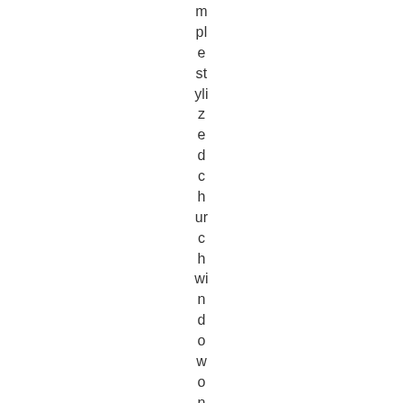mple stylized church window on the white sleeve ve